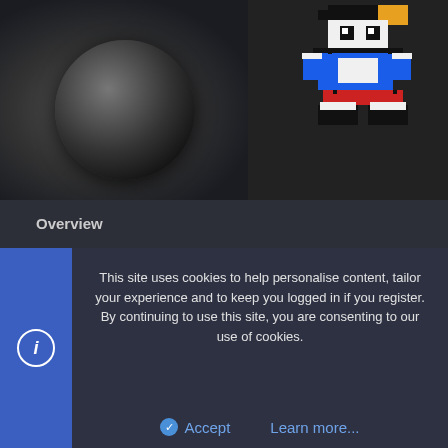[Figure (screenshot): Hero banner with dark background. Left side shows a dark 3D ball/sphere. Right side shows pixel art of a character (Sonic-style) with blue, black, white, red, and orange pixels.]
Overview
Sonic of the Ring Tutorials Room
Download via mediafire
[Figure (screenshot): Video panel with channel icon showing letter S, video title 'Sonic of the Ring Tutorials Room v0...' and a three-dot menu icon.]
This site uses cookies to help personalise content, tailor your experience and to keep you logged in if you register.
By continuing to use this site, you are consenting to our use of cookies.
Accept   Learn more...